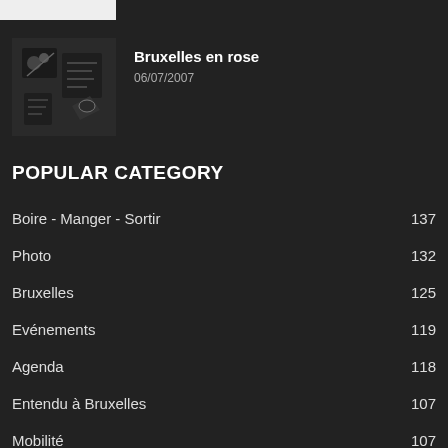[Figure (screenshot): Top white bar image placeholder]
[Figure (photo): Dark thumbnail image with graphic/logo overlay for article Bruxelles en rose]
Bruxelles en rose
06/07/2007
POPULAR CATEGORY
Boire - Manger - Sortir   137
Photo   132
Bruxelles   125
Evénements   119
Agenda   118
Entendu à Bruxelles   107
Mobilité   107
Politique   80
Actualités   73